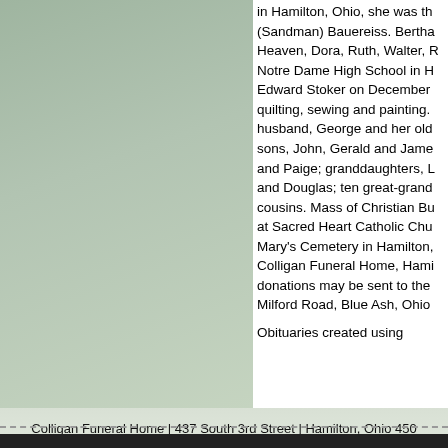[Figure (photo): Green-tinted background panel on left side of page, obituary layout]
in Hamilton, Ohio, she was th (Sandman) Bauereiss. Bertha Heaven, Dora, Ruth, Walter, R Notre Dame High School in H Edward Stoker on December quilting, sewing and painting. husband, George and her old sons, John, Gerald and Jame and Paige; granddaughters, L and Douglas; ten great-grand cousins. Mass of Christian Bu at Sacred Heart Catholic Chu Mary's Cemetery in Hamilton, Colligan Funeral Home, Hami donations may be sent to the Milford Road, Blue Ash, Ohio
Obituaries created using
Colligan Funeral Home | 437 South 3rd Street | Hamilton, Ohio 450